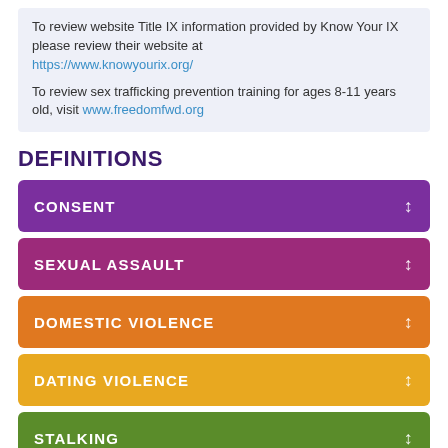To review website Title IX information provided by Know Your IX please review their website at https://www.knowyourix.org/
To review sex trafficking prevention training for ages 8-11 years old, visit www.freedomfwd.org
DEFINITIONS
CONSENT
SEXUAL ASSAULT
DOMESTIC VIOLENCE
DATING VIOLENCE
STALKING